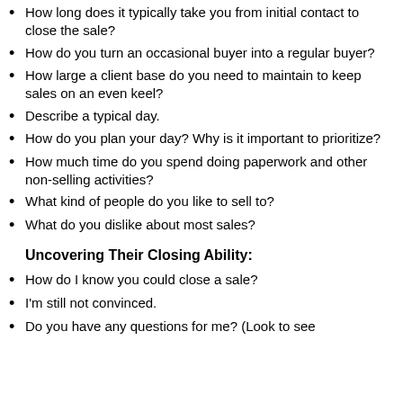How long does it typically take you from initial contact to close the sale?
How do you turn an occasional buyer into a regular buyer?
How large a client base do you need to maintain to keep sales on an even keel?
Describe a typical day.
How do you plan your day? Why is it important to prioritize?
How much time do you spend doing paperwork and other non-selling activities?
What kind of people do you like to sell to?
What do you dislike about most sales?
Uncovering Their Closing Ability:
How do I know you could close a sale?
I'm still not convinced.
Do you have any questions for me? (Look to see